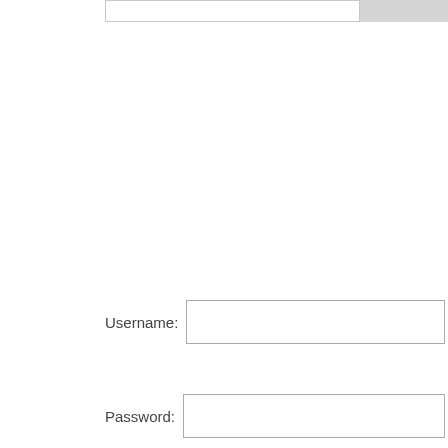[Figure (screenshot): Top bar with a text input field and a gray button, partially visible at the top of the page]
Username:
Password: